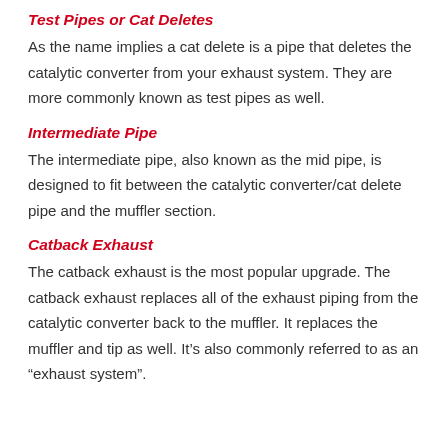Test Pipes or Cat Deletes
As the name implies a cat delete is a pipe that deletes the catalytic converter from your exhaust system. They are more commonly known as test pipes as well.
Intermediate Pipe
The intermediate pipe, also known as the mid pipe, is designed to fit between the catalytic converter/cat delete pipe and the muffler section.
Catback Exhaust
The catback exhaust is the most popular upgrade. The catback exhaust replaces all of the exhaust piping from the catalytic converter back to the muffler. It replaces the muffler and tip as well. It’s also commonly referred to as an “exhaust system”.